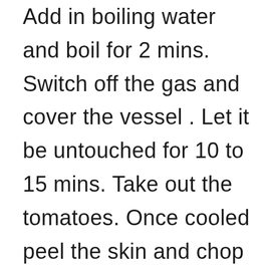Add in boiling water and boil for 2 mins. Switch off the gas and cover the vessel . Let it be untouched for 10 to 15 mins. Take out the tomatoes. Once cooled peel the skin and chop it. Take this chopped tomatoes in mixer jar and make smooth puree.